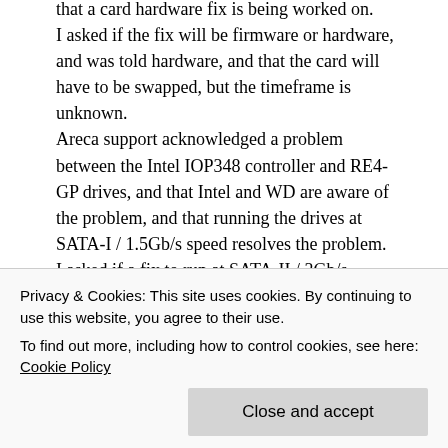that a card hardware fix is being worked on. I asked if the fix will be firmware or hardware, and was told hardware, and that the card will have to be swapped, but the timeframe is unknown. Areca support acknowledged a problem between the Intel IOP348 controller and RE4-GP drives, and that Intel and WD are aware of the problem, and that running the drives at SATA-I / 1.5Gb/s speed resolves the problem. I asked if a fix to run at SATA-II / 3Gb/s speeds will be made available, I was told this will not be possible without hardware changes, and no fix is planned. LSI support acknowledged a problem with RE4-GP
Privacy & Cookies: This site uses cookies. By continuing to use this website, you agree to their use. To find out more, including how to control cookies, see here: Cookie Policy
Close and accept
the problem, and that WD would need to provide a fix.